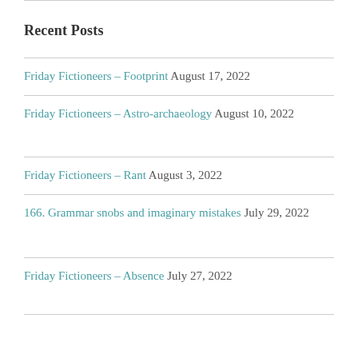Recent Posts
Friday Fictioneers – Footprint August 17, 2022
Friday Fictioneers – Astro-archaeology August 10, 2022
Friday Fictioneers – Rant August 3, 2022
166. Grammar snobs and imaginary mistakes July 29, 2022
Friday Fictioneers – Absence July 27, 2022